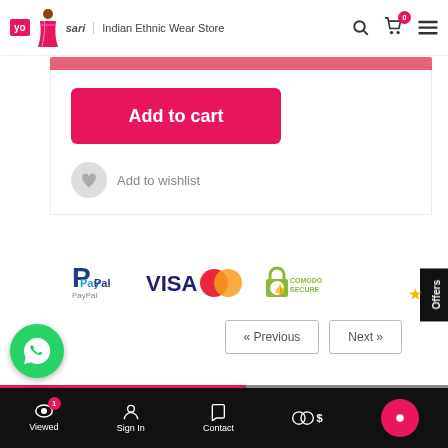[Figure (screenshot): Yosari Indian Ethnic Wear Store website header with logo, store name, search, cart, and menu icons]
[Figure (screenshot): Add to cart pink/magenta button]
[Figure (screenshot): Add to wishlist button with heart icon]
[Figure (screenshot): Payment method icons: PayPal, Visa, MasterCard, Comodo Secure]
[Figure (screenshot): Previous and Next navigation buttons]
[Figure (screenshot): WhatsApp chat bubble green circle button]
[Figure (screenshot): Offers side tab on right edge]
[Figure (screenshot): Bottom navigation bar with Viewed (badge 1), Sign In, Contact, currency, and chat icons]